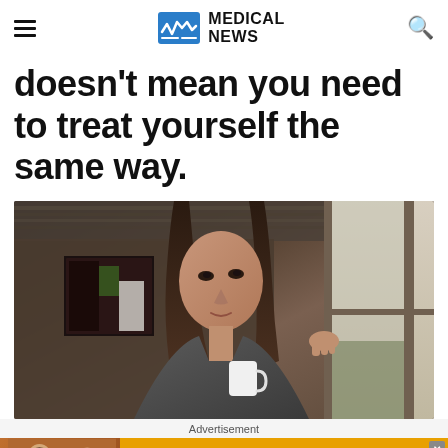MEDICAL NEWS
doesn't mean you need to treat yourself the same way.
[Figure (photo): Woman holding a white mug, looking pensively out a window, wearing a grey cardigan, with artwork visible on wall behind her]
Advertisement
[Figure (other): Advertisement banner: Sunglasses for the Make - Timeless Styles, Unmatched Quality - Shop Now button. Shows two women wearing sunglasses.]